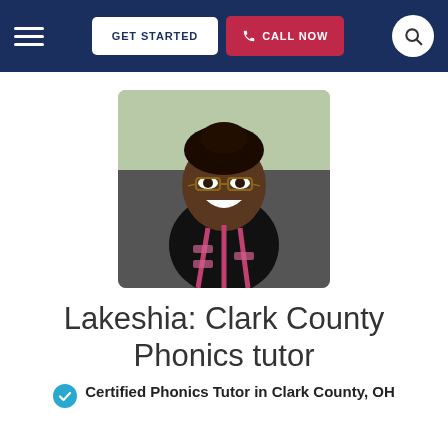GET STARTED | CALL NOW
[Figure (photo): Profile photo of Lakeshia, a smiling woman wearing glasses, a black turtleneck, and a pink lanyard, seated in a car]
Lakeshia: Clark County Phonics tutor
Certified Phonics Tutor in Clark County, OH